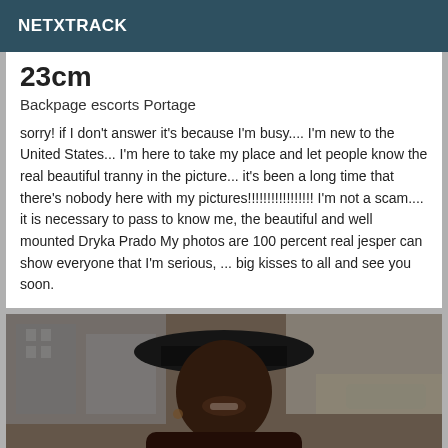NETXTRACK
23cm
Backpage escorts Portage
sorry! if I don't answer it's because I'm busy.... I'm new to the United States... I'm here to take my place and let people know the real beautiful tranny in the picture... it's been a long time that there's nobody here with my pictures!!!!!!!!!!!!!!!!! I'm not a scam.... it is necessary to pass to know me, the beautiful and well mounted Dryka Prado My photos are 100 percent real jesper can show everyone that I'm serious, ... big kisses to all and see you soon.
[Figure (photo): Photo of a person wearing a black hat, smiling, partial portrait]